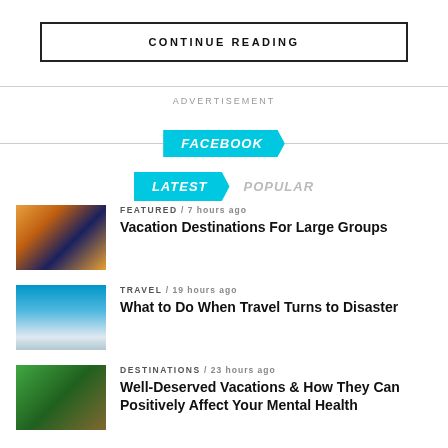CONTINUE READING
ADVERTISEMENT
FACEBOOK
LATEST  POPULAR
FEATURED / 7 hours ago — Vacation Destinations For Large Groups
TRAVEL / 19 hours ago — What to Do When Travel Turns to Disaster
DESTINATIONS / 23 hours ago — Well-Deserved Vacations & How They Can Positively Affect Your Mental Health